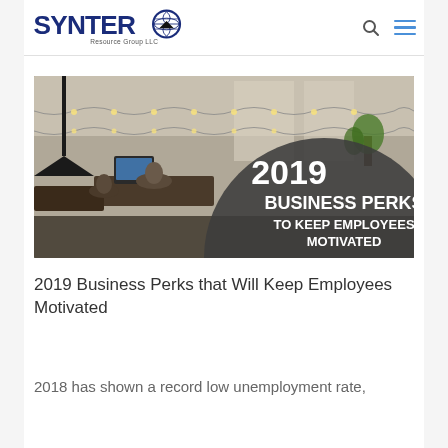Synter Resource Group, LLC
[Figure (photo): Office workspace with string lights and people working at desks; overlaid with a dark circle graphic reading '2019 BUSINESS PERKS TO KEEP EMPLOYEES MOTIVATED']
2019 Business Perks that Will Keep Employees Motivated
2018 has shown a record low unemployment rate,